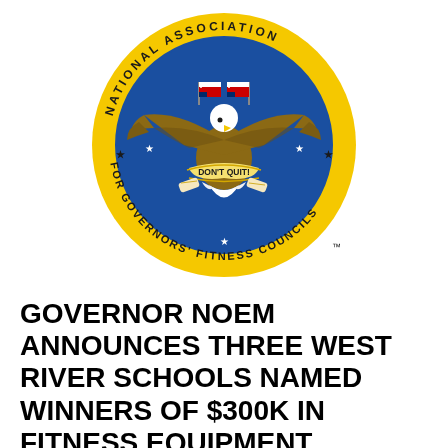[Figure (logo): Circular seal of the National Association for Governors' Fitness Councils. Blue circle with yellow border ring. Features a bald eagle with wings spread holding American flags, a banner reading 'DON'T QUIT!', and stars. Text along the border reads 'NATIONAL ASSOCIATION FOR GOVERNORS' FITNESS COUNCILS'. Trademark symbol bottom right.]
GOVERNOR NOEM ANNOUNCES THREE WEST RIVER SCHOOLS NAMED WINNERS OF $300K IN FITNESS EQUIPMENT
Cara Muckridge